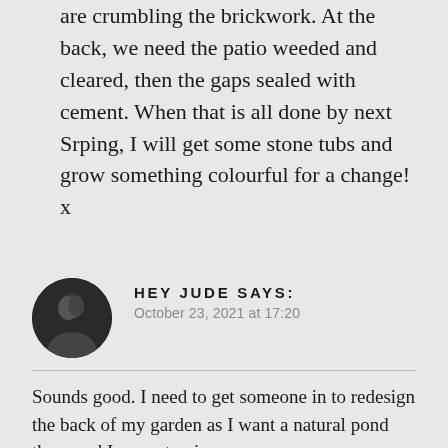are crumbling the brickwork. At the back, we need the patio weeded and cleared, then the gaps sealed with cement. When that is all done by next Srping, I will get some stone tubs and grow something colourful for a change! x
[Figure (photo): Circular avatar photo of a person with dark hair, black and white, for user HEY JUDE]
HEY JUDE says:
October 23, 2021 at 17:20
Sounds good. I need to get someone in to redesign the back of my garden as I want a natural pond there and I am not going...